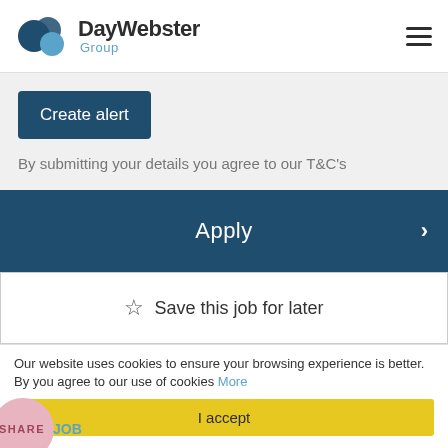[Figure (logo): DayWebster Group logo with two overlapping circles (dark blue and light blue) and text 'DayWebster Group']
[Figure (other): Hamburger menu icon (three horizontal lines)]
Create alert
By submitting your details you agree to our T&C's
Apply
☆ Save this job for later
Our website uses cookies to ensure your browsing experience is better. By you agree to our use of cookies More
I accept
SHARE JOB